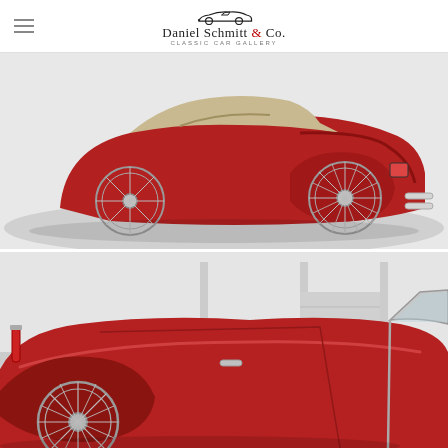Daniel Schmitt & Co. Classic Car Gallery
[Figure (photo): Red classic Jaguar XK roadster photographed from the rear three-quarter angle in a white studio. The car has a beige convertible soft top raised, wire-spoke wheels, and chrome exhaust pipes visible at the rear.]
[Figure (photo): Close-up side view of a red classic Jaguar XK roadster in a dealership showroom. The convertible top is down, chrome windscreen frame is visible, and wire-spoke front wheel is shown. Background shows a multi-level showroom interior.]